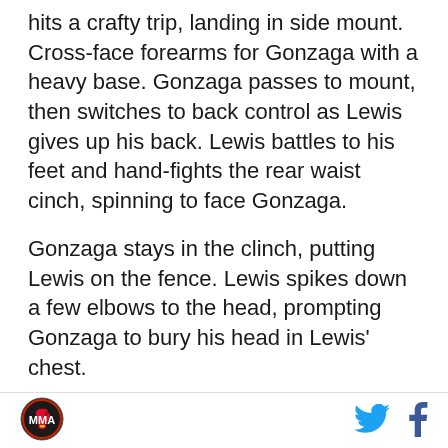hits a crafty trip, landing in side mount. Cross-face forearms for Gonzaga with a heavy base. Gonzaga passes to mount, then switches to back control as Lewis gives up his back. Lewis battles to his feet and hand-fights the rear waist cinch, spinning to face Gonzaga.
Gonzaga stays in the clinch, putting Lewis on the fence. Lewis spikes down a few elbows to the head, prompting Gonzaga to bury his head in Lewis' chest.
[Figure (logo): Circular logo with red and black design, appears to be a sports/MMA outlet logo]
[Figure (logo): Twitter bird icon in cyan blue]
[Figure (logo): Facebook 'f' icon in dark blue]